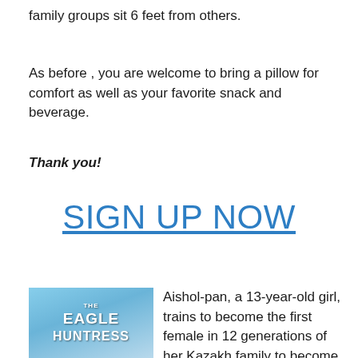family groups sit 6 feet from others.
As before , you are welcome to bring a pillow for comfort as well as your favorite snack and beverage.
Thank you!
SIGN UP NOW
[Figure (illustration): Movie poster for 'The Eagle Huntress' with blue sky background showing a young girl with an eagle]
Aishol-pan, a 13-year-old girl, trains to become the first female in 12 generations of her Kazakh family to become an eagle hunter and rises to the